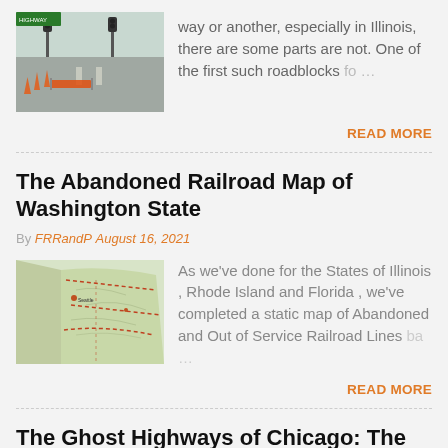[Figure (photo): Road with orange construction barriers/cones, roadblock scene in Illinois]
way or another, especially in Illinois, there are some parts are not. One of the first such roadblocks fo …
READ MORE
The Abandoned Railroad Map of Washington State
By FRRandP August 16, 2021
[Figure (map): Static map showing abandoned railroad lines in Washington State]
As we've done for the States of Illinois , Rhode Island and Florida , we've completed a static map of Abandoned and Out of Service Railroad Lines ba … …
READ MORE
The Ghost Highways of Chicago: The Crosstown Expressway & The Lake Shore